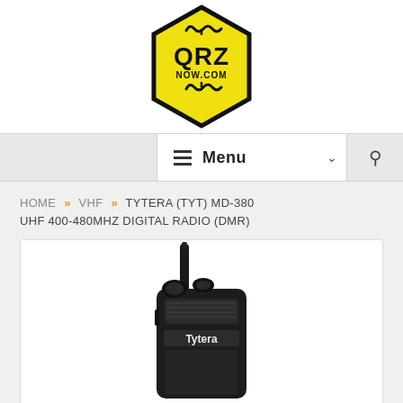[Figure (logo): QRZ Now.com logo: yellow hexagon shape with coil/antenna graphic and text QRZ NOW.COM]
Menu
HOME » VHF » TYTERA (TYT) MD-380 UHF 400-480MHZ DIGITAL RADIO (DMR)
[Figure (photo): Tytera MD-380 handheld digital radio (DMR) - black walkie talkie with antenna, two knobs on top, and Tytera branding on the front face]